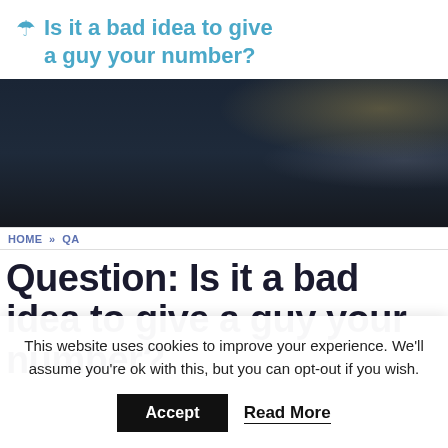☂ Is it a bad idea to give a guy your number?
[Figure (photo): Dark moody photograph, appears to show car interior or dark background with subtle golden light highlight at top right corner]
HOME » QA
Question: Is it a bad idea to give a guy your number?
This website uses cookies to improve your experience. We'll assume you're ok with this, but you can opt-out if you wish.
Accept   Read More